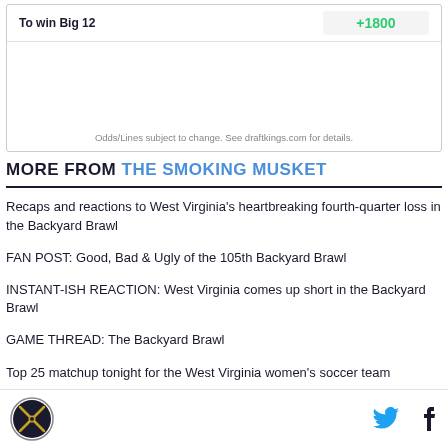|  |  |
| --- | --- |
| To win Big 12 | +1800 |
Odds/Lines subject to change. See draftkings.com for details.
MORE FROM THE SMOKING MUSKET
Recaps and reactions to West Virginia's heartbreaking fourth-quarter loss in the Backyard Brawl
FAN POST: Good, Bad & Ugly of the 105th Backyard Brawl
INSTANT-ISH REACTION: West Virginia comes up short in the Backyard Brawl
GAME THREAD: The Backyard Brawl
Top 25 matchup tonight for the West Virginia women's soccer team
Top Five Games for West Virginia Mountaineers Athletics in...
The Smoking Musket logo, Twitter icon, Facebook icon